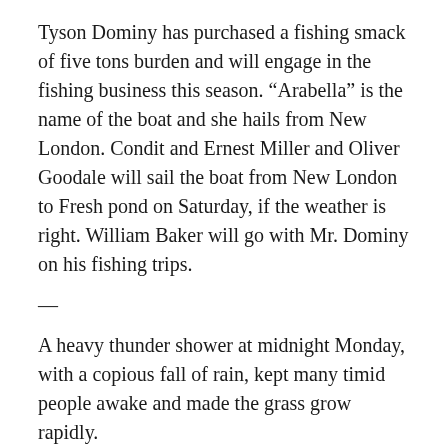Tyson Dominy has purchased a fishing smack of five tons burden and will engage in the fishing business this season. “Arabella” is the name of the boat and she hails from New London. Condit and Ernest Miller and Oliver Goodale will sail the boat from New London to Fresh pond on Saturday, if the weather is right. William Baker will go with Mr. Dominy on his fishing trips.
—
A heavy thunder shower at midnight Monday, with a copious fall of rain, kept many timid people awake and made the grass grow rapidly.
—